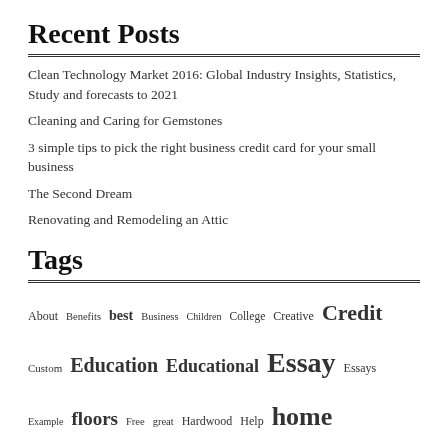Recent Posts
Clean Technology Market 2016: Global Industry Insights, Statistics, Study and forecasts to 2021
Cleaning and Caring for Gemstones
3 simple tips to pick the right business credit card for your small business
The Second Dream
Renovating and Remodeling an Attic
Tags
About Benefits best Business Children College Creative Credit Custom Education Educational Essay Essays Example floors Free great Hardwood Help home